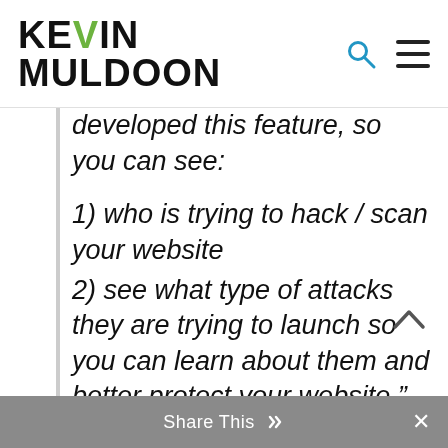Kevin Muldoon
developed this feature, so you can see:
1) who is trying to hack / scan your website
2) see what type of attacks they are trying to launch so you can learn about them and better protect your website.”
Share This ✕